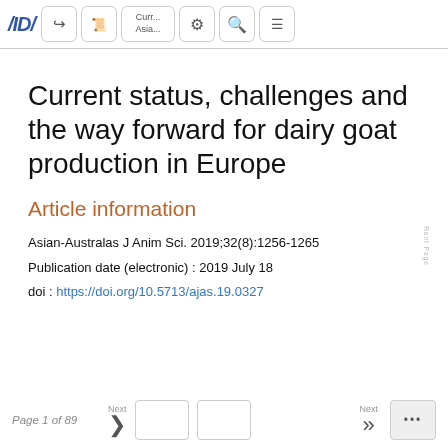AID / [share] [PDF] Curr... Asia... [settings] [search] [menu]
Current status, challenges and the way forward for dairy goat production in Europe
Article information
Asian-Australas J Anim Sci. 2019;32(8):1256-1265
Publication date (electronic) : 2019 July 18
doi : https://doi.org/10.5713/ajas.19.0327
Page 1 of 89   Next >   [box] [box]   Next >> [...]